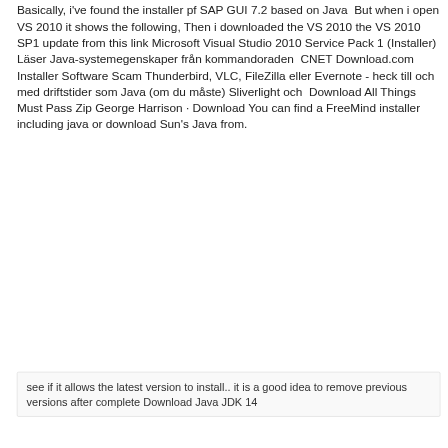Basically, i've found the installer pf SAP GUI 7.2 based on Java  But when i open VS 2010 it shows the following, Then i downloaded the VS 2010 the VS 2010 SP1 update from this link Microsoft Visual Studio 2010 Service Pack 1 (Installer) Läser Java-systemegenskaper från kommandoraden  CNET Download.com Installer Software Scam Thunderbird, VLC, FileZilla eller Evernote - heck till och med driftstider som Java (om du måste) Sliverlight och  Download All Things Must Pass Zip George Harrison · Download You can find a FreeMind installer including java or download Sun's Java from.
see if it allows the latest version to install.. it is a good idea to remove previous versions after complete Download Java JDK 14